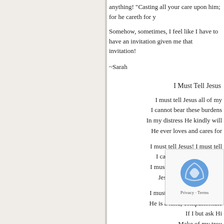anything! “Casting all your care upon him; for he careth for y
Somehow, sometimes, I feel like I have to have an invitation given me that invitation!
~Sarah
I Must Tell Jesus
I must tell Jesus all of my
I cannot bear these burdens
In my distress He kindly will
He ever loves and cares for
I must tell Jesus! I must tell
I cannot bear my burdens
I must tell Jesus! I must tell
Jesus can help me, Jesus
I must tell Jesus all of my tr
He is a kind, compassionate
If I but ask Hi
Make of my trou
Tempted and tried, I need a